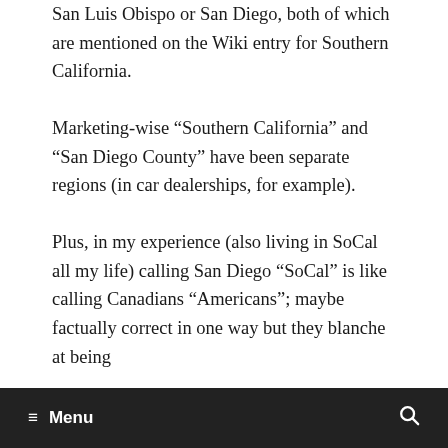San Luis Obispo or San Diego, both of which are mentioned on the Wiki entry for Southern California.
Marketing-wise “Southern California” and “San Diego County” have been separate regions (in car dealerships, for example).
Plus, in my experience (also living in SoCal all my life) calling San Diego “SoCal” is like calling Canadians “Americans”; maybe factually correct in one way but they blanche at being
≡ Menu  🔍